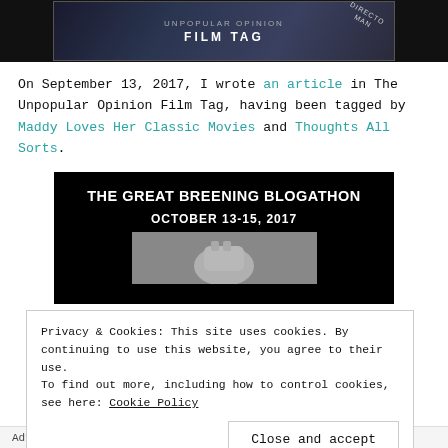[Figure (photo): Top banner image for The Unpopular Opinion Film Tag, dark/blue background with text overlay and clapperboard elements]
On September 13, 2017, I wrote an article in The Unpopular Opinion Film Tag, having been tagged by Maddy Loves Her Classic Movies and Thoughts All Sorts.
[Figure (photo): The Great Breening Blogathon banner image, black background with white text reading 'THE GREAT BREENING BLOGATHON' and 'OCTOBER 13-15, 2017', with a raised fist image below]
Privacy & Cookies: This site uses cookies. By continuing to use this website, you agree to their use.
To find out more, including how to control cookies, see here: Cookie Policy
Close and accept
Advertisements